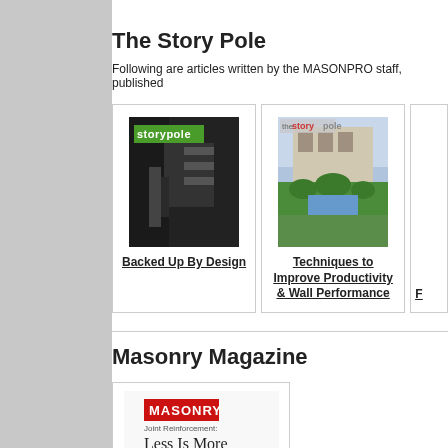The Story Pole
Following are articles written by the MASONPRO staff, published
[Figure (illustration): Magazine cover of 'The Story Pole' - dark industrial interior staircase image with green 'storypole' logo]
Backed Up By Design
[Figure (illustration): Magazine cover of 'The Story Pole' - aerial view of building with green landscaping and blue pool]
Techniques to Improve Productivity & Wall Performance
F
Masonry Magazine
[Figure (illustration): Masonry Magazine cover with red logo, title 'Joint Reinforcement: Less Is More', and body text]